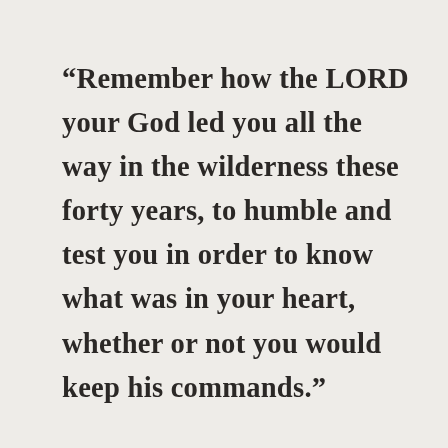“Remember how the LORD your God led you all the way in the wilderness these forty years, to humble and test you in order to know what was in your heart, whether or not you would keep his commands.”